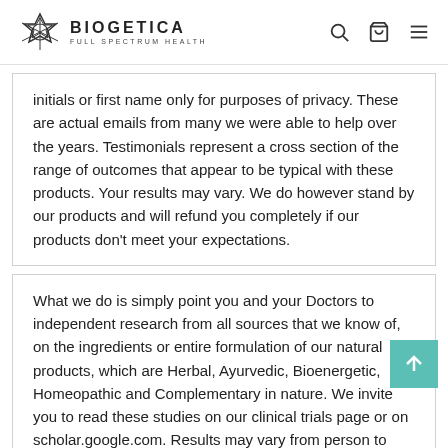BIOGETICA FULL SPECTRUM HEALTH
initials or first name only for purposes of privacy. These are actual emails from many we were able to help over the years. Testimonials represent a cross section of the range of outcomes that appear to be typical with these products. Your results may vary. We do however stand by our products and will refund you completely if our products don't meet your expectations.
What we do is simply point you and your Doctors to independent research from all sources that we know of, on the ingredients or entire formulation of our natural products, which are Herbal, Ayurvedic, Bioenergetic, Homeopathic and Complementary in nature. We invite you to read these studies on our clinical trials page or on scholar.google.com. Results may vary from person to